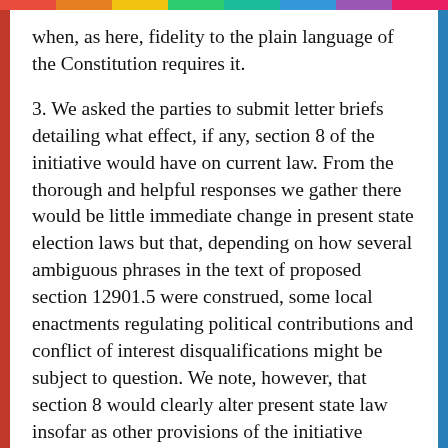when, as here, fidelity to the plain language of the Constitution requires it.
3. We asked the parties to submit letter briefs detailing what effect, if any, section 8 of the initiative would have on current law. From the thorough and helpful responses we gather there would be little immediate change in present state election laws but that, depending on how several ambiguous phrases in the text of proposed section 12901.5 were construed, some local enactments regulating political contributions and conflict of interest disqualifications might be subject to question. We note, however, that section 8 would clearly alter present state law insofar as other provisions of the initiative prohibit its amendment except by a two-thirds vote of the Legislature. Thus, the power to impose future restrictions on contributions and voting rights would in fact be subjected to restraints not now in existence.